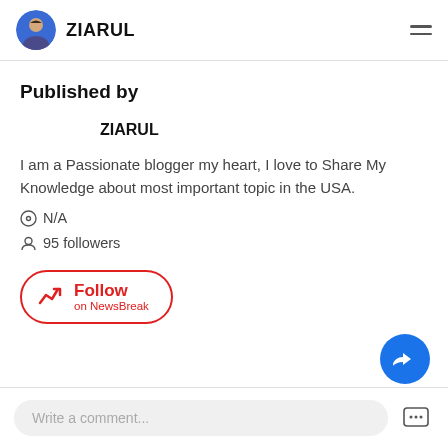ZIARUL
Published by
ZIARUL
I am a Passionate blogger my heart, I love to Share My Knowledge about most important topic in the USA.
N/A
95 followers
Follow on NewsBreak
Write a comment...